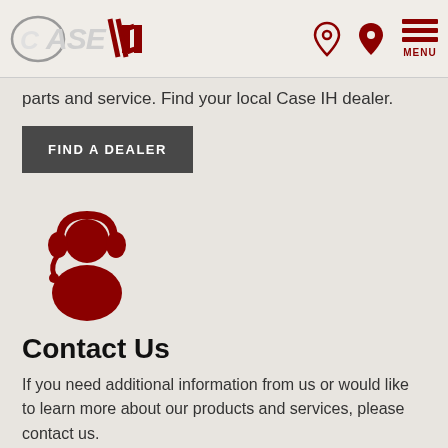CASE IH — Logo and navigation header
parts and service. Find your local Case IH dealer.
FIND A DEALER
[Figure (illustration): Red customer support / headset person icon]
Contact Us
If you need additional information from us or would like to learn more about our products and services, please contact us.
CONTACT US